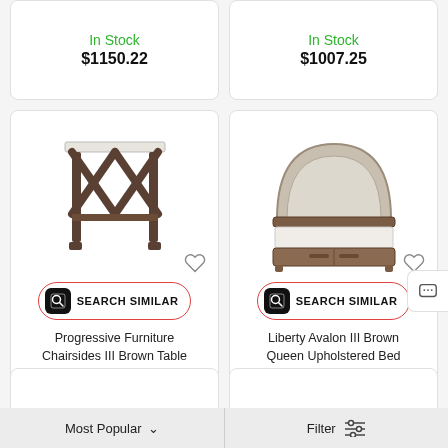In Stock
$1150.22
In Stock
$1007.25
[Figure (photo): Progressive Furniture Chairsides III Brown Table — a dark brown side table with X-pattern legs and a marble or white top]
[Figure (photo): Liberty Avalon III Brown Queen Upholstered Bed — a queen bed with arched upholstered headboard in grey/beige fabric and brown wood frame]
SEARCH SIMILAR
SEARCH SIMILAR
Progressive Furniture Chairsides III Brown Table
In Stock
$124.24
Liberty Avalon III Brown Queen Upholstered Bed
In Stock
$1047.38
Most Popular
Filter